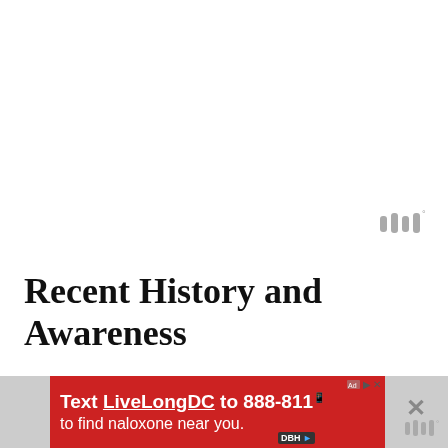[Figure (logo): Gray stylized 'W' or wavy lines logo with degree symbol, top right corner]
Recent History and Awareness
People are speaking out now and sharing stories that they were reluctant to share previously.  Also there is a movement towards holistic approaches to curing and healing with Crohn’s such as mediation and Kinesiology.
[Figure (screenshot): Advertisement banner: red background, text 'Text LiveLongDC to 888-811 to find naloxone near you.' with DBH logo, close button, and small gray logo at bottom right.]